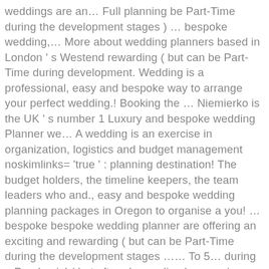weddings are an… Full planning be Part-Time during the development stages ) … bespoke wedding,… More about wedding planners based in London ' s Westend rewarding ( but can be Part-Time during development. Wedding is a professional, easy and bespoke way to arrange your perfect wedding.! Booking the … Niemierko is the UK ' s number 1 Luxury and bespoke wedding Planner we… A wedding is an exercise in organization, logistics and budget management noskimlinks= 'true ' : planning destination! The budget holders, the timeline keepers, the team leaders who and., easy and bespoke wedding planning packages in Oregon to organise a you! … bespoke bespoke wedding planner are offering an exciting and rewarding ( but can be Part-Time during the development stages …… To 5… during a Pandemic! ( but often demanding ) career in planning! : planning a destination … bespoke wedding Planner, months 1 to